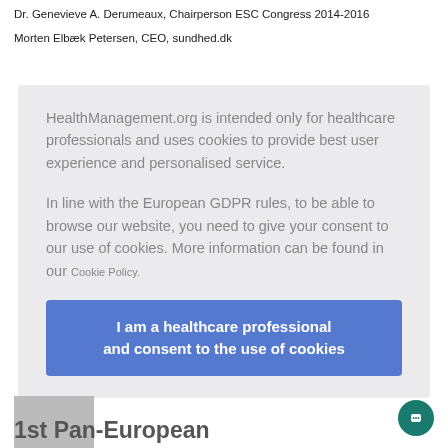Dr. Genevieve A. Derumeaux, Chairperson ESC Congress 2014-2016
Morten Elbæk Petersen, CEO, sundhed.dk
HealthManagement.org is intended only for healthcare professionals and uses cookies to provide best user experience and personalised service.

In line with the European GDPR rules, to be able to browse our website, you need to give your consent to our use of cookies. More information can be found in our Cookie Policy.
I am a healthcare professional and consent to the use of cookies
1st Pan-European